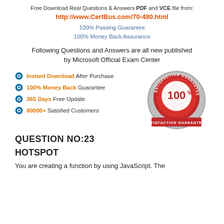Free Download Real Questions & Answers PDF and VCE file from:
http://www.CertBus.com/70-480.html
100% Passing Guarantee
100% Money Back Assurance
Following Questions and Answers are all new published by Microsoft Official Exam Center
Instant Download After Purchase
100% Money Back Guarantee
365 Days Free Update
80000+ Satisfied Customers
[Figure (illustration): Red and silver satisfaction guaranteed badge/seal with 100% text]
QUESTION NO:23
HOTSPOT
You are creating a function by using JavaScript. The